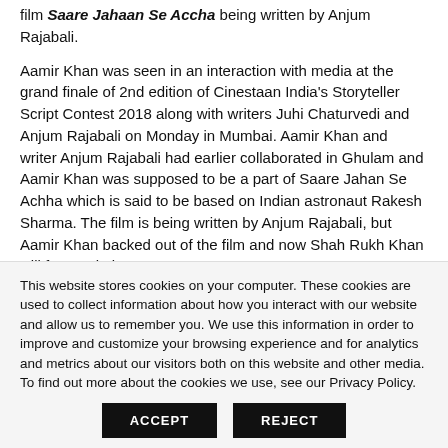film Saare Jahaan Se Accha being written by Anjum Rajabali.
Aamir Khan was seen in an interaction with media at the grand finale of 2nd edition of Cinestaan India's Storyteller Script Contest 2018 along with writers Juhi Chaturvedi and Anjum Rajabali on Monday in Mumbai. Aamir Khan and writer Anjum Rajabali had earlier collaborated in Ghulam and Aamir Khan was supposed to be a part of Saare Jahan Se Achha which is said to be based on Indian astronaut Rakesh Sharma. The film is being written by Anjum Rajabali, but Aamir Khan backed out of the film and now Shah Rukh Khan will feature in it.
This website stores cookies on your computer. These cookies are used to collect information about how you interact with our website and allow us to remember you. We use this information in order to improve and customize your browsing experience and for analytics and metrics about our visitors both on this website and other media. To find out more about the cookies we use, see our Privacy Policy.